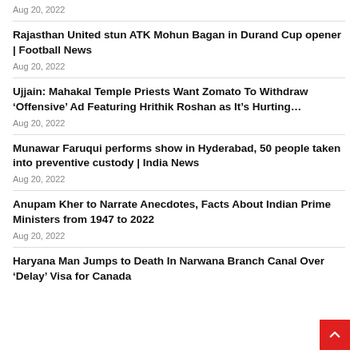Aug 20, 2022
Rajasthan United stun ATK Mohun Bagan in Durand Cup opener | Football News
Aug 20, 2022
Ujjain: Mahakal Temple Priests Want Zomato To Withdraw ‘Offensive’ Ad Featuring Hrithik Roshan as It’s Hurting…
Aug 20, 2022
Munawar Faruqui performs show in Hyderabad, 50 people taken into preventive custody | India News
Aug 20, 2022
Anupam Kher to Narrate Anecdotes, Facts About Indian Prime Ministers from 1947 to 2022
Aug 20, 2022
Haryana Man Jumps to Death In Narwana Branch Canal Over ‘Delay’ Visa for Canada